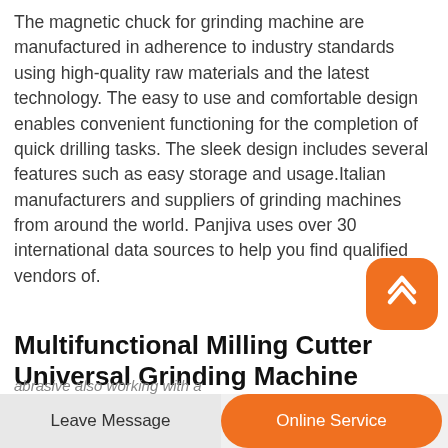The magnetic chuck for grinding machine are manufactured in adherence to industry standards using high-quality raw materials and the latest technology. The easy to use and comfortable design enables convenient functioning for the completion of quick drilling tasks. The sleek design includes several features such as easy storage and usage.Italian manufacturers and suppliers of grinding machines from around the world. Panjiva uses over 30 international data sources to help you find qualified vendors of.
[Figure (other): Orange rounded square button with a white upward-pointing chevron/caret icon, floating UI element]
Multifunctional Milling Cutter Universal Grinding Machine
abrasive also working with a